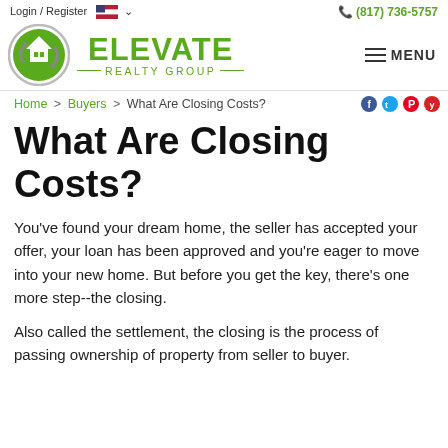Login / Register   (817) 736-5757
[Figure (logo): Elevate Realty Group logo with green circular house icon and green ELEVATE REALTY GROUP text]
Home > Buyers > What Are Closing Costs?
What Are Closing Costs?
You've found your dream home, the seller has accepted your offer, your loan has been approved and you're eager to move into your new home. But before you get the key, there's one more step--the closing.
Also called the settlement, the closing is the process of passing ownership of property from seller to buyer.